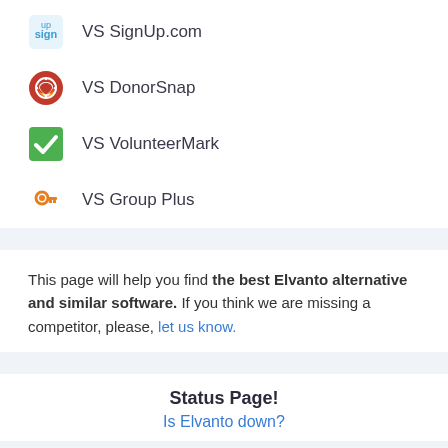VS SignUp.com
VS DonorSnap
VS VolunteerMark
VS Group Plus
This page will help you find the best Elvanto alternative and similar software. If you think we are missing a competitor, please, let us know.
Status Page!
Is Elvanto down?
✨ Featured ✨